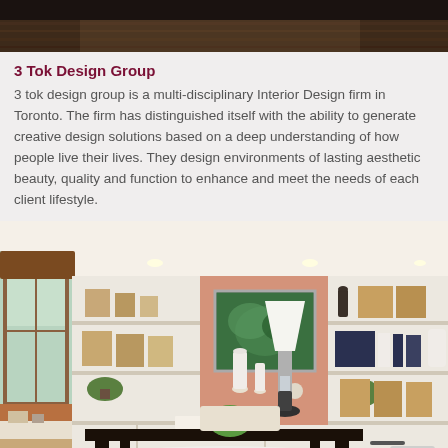[Figure (photo): Top portion of a photo showing a dark wood floor and ceiling, partially cropped]
3 Tok Design Group
3 tok design group is a multi-disciplinary Interior Design firm in Toronto. The firm has distinguished itself with the ability to generate creative design solutions based on a deep understanding of how people live their lives. They design environments of lasting aesthetic beauty, quality and function to enhance and meet the needs of each client lifestyle.
[Figure (photo): Interior design photo of a home office with a dark wood desk, white built-in shelving units, a lamp with white shade, framed botanical artwork on a peach/terracotta accent wall, zebra print rug on wood flooring, and a window seat with brown cushion. A scroll-to-top button is visible in the bottom right corner.]